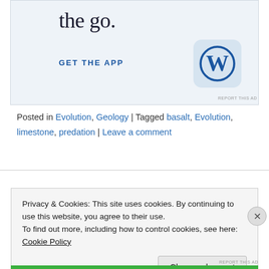[Figure (screenshot): WordPress app advertisement banner with text 'the go.' and 'GET THE APP' and WordPress logo icon on light blue background]
REPORT THIS AD
Posted in Evolution, Geology | Tagged basalt, Evolution, limestone, predation | Leave a comment
Privacy & Cookies: This site uses cookies. By continuing to use this website, you agree to their use.
To find out more, including how to control cookies, see here: Cookie Policy
Close and accept